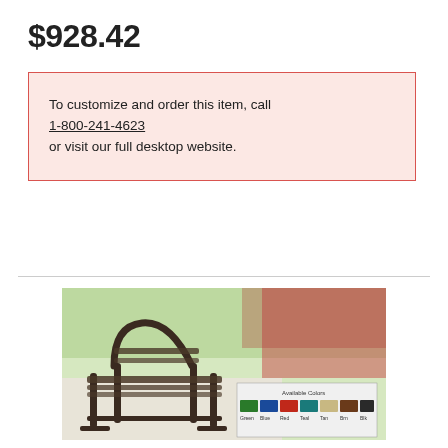$928.42
To customize and order this item, call 1-800-241-4623 or visit our full desktop website.
[Figure (photo): Outdoor metal bench with mesh seat and back, shown on a walkway with green lawn and flowers in background. Inset image shows available colors including green, blue, red, and beige/tan swatches labeled 'Available Colors'.]